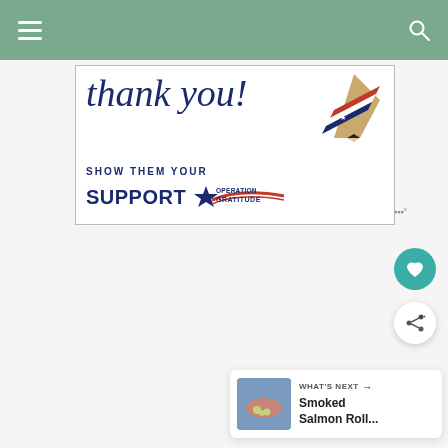Navigation bar with hamburger menu and search icon
[Figure (illustration): Advertisement banner: 'Thank you! Show them your Support - Operation Gratitude' with a patriotic pencil graphic (American flag design). Dark navy blue text on white background with red, white and blue star/swoosh logo for Operation Gratitude.]
[Figure (other): Heart (favorite) button - teal circular button with white heart icon]
[Figure (other): Share button - white circular button with share/network icon]
WHAT'S NEXT → Smoked Salmon Roll...